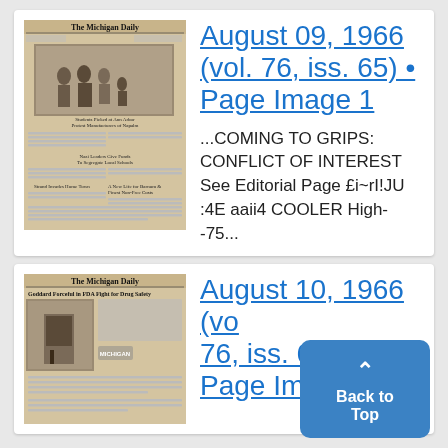[Figure (photo): Thumbnail of The Michigan Daily newspaper front page, August 09, 1966]
August 09, 1966 (vol. 76, iss. 65) • Page Image 1
...COMING TO GRIPS: CONFLICT OF INTEREST See Editorial Page £i~rI!JU :4E aaii4 COOLER High--75...
[Figure (photo): Thumbnail of The Michigan Daily newspaper front page, August 10, 1966]
August 10, 1966 (vol. 76, iss. 6... Page Ima...